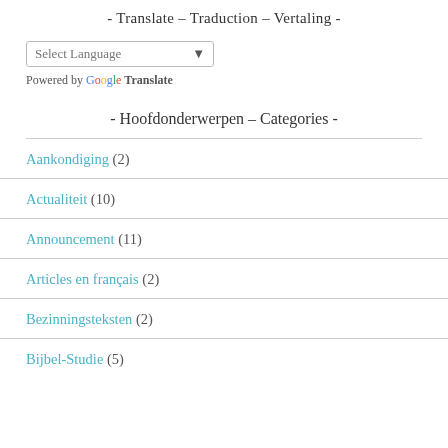- Translate – Traduction – Vertaling -
Select Language (dropdown widget) | Powered by Google Translate
- Hoofdonderwerpen – Categories -
Aankondiging (2)
Actualiteit (10)
Announcement (11)
Articles en français (2)
Bezinningsteksten (2)
Bijbel-Studie (5) [partial]